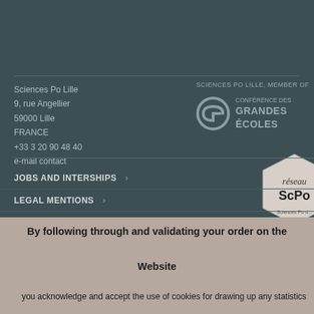Sciences Po Lille
9, rue Angellier
59000 Lille
FRANCE
+33 3 20 90 48 40
e-mail contact
SCIENCES PO LILLE, MEMBER OF
[Figure (logo): Conférence des Grandes Écoles logo with stylized G icon]
[Figure (logo): Réseau ScPo badge/hexagon logo]
JOBS AND INTERSHIPS
LEGAL MENTIONS
HOW TO CONTACT US ?
HOW TO FIND US
By following through and validating your order on the
Website
you acknowledge and accept the use of cookies for drawing up any statistics